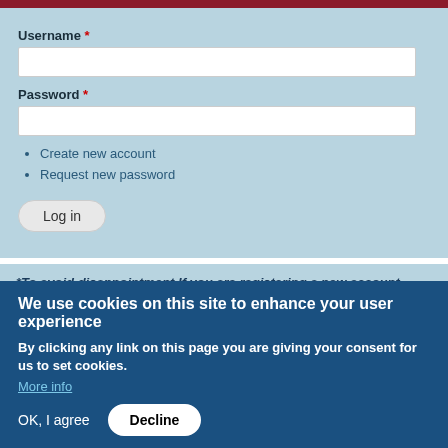[Figure (screenshot): Dark red top navigation bar strip]
Username *
[Figure (screenshot): Empty username text input field]
Password *
[Figure (screenshot): Empty password text input field]
Create new account
Request new password
[Figure (screenshot): Log in button with rounded corners]
*To avoid disappointment If you are registering a new account, kindly check your spam folder as well as your inbox for our welcome message.
We use cookies on this site to enhance your user experience
By clicking any link on this page you are giving your consent for us to set cookies.
More info
OK, I agree
Decline